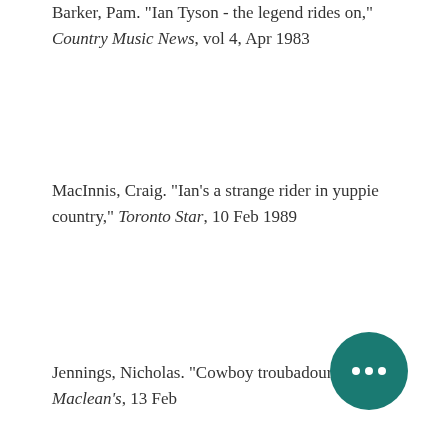Barker, Pam. "Ian Tyson - the legend rides on," Country Music News, vol 4, Apr 1983
MacInnis, Craig. "Ian's a strange rider in yuppie country," Toronto Star, 10 Feb 1989
Jennings, Nicholas. "Cowboy troubadour," Maclean's, 13 Feb